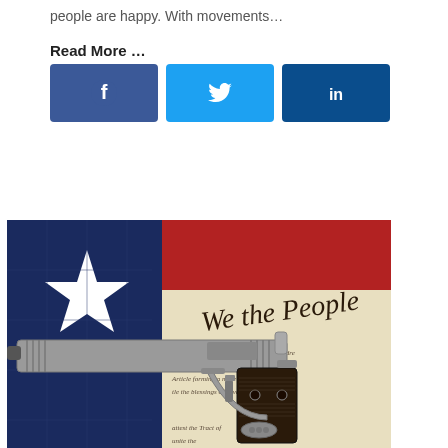people are happy. With movements…
Read More …
[Figure (other): Three social media share buttons: Facebook (blue), Twitter (light blue), LinkedIn (dark blue)]
[Figure (photo): Photo of a silver semi-automatic pistol resting on a US Constitution document showing 'We the People' text, with an American flag featuring a white star in the background]